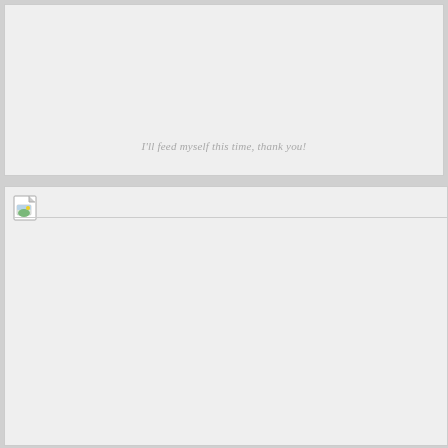[Figure (illustration): Top panel showing a mostly blank light gray image area with an italic caption at the bottom.]
I'll feed myself this time, thank you!
[Figure (photo): Bottom panel showing a broken image placeholder icon in the top-left corner with a horizontal border line, and a large blank light gray area below.]